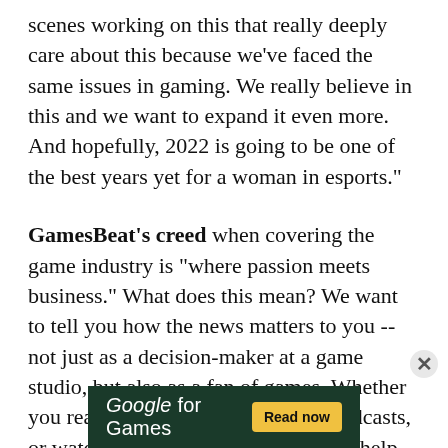scenes working on this that really deeply care about this because we've faced the same issues in gaming. We really believe in this and we want to expand it even more. And hopefully, 2022 is going to be one of the best years yet for a woman in esports."
GamesBeat's creed when covering the game industry is "where passion meets business." What does this mean? We want to tell you how the news matters to you -- not just as a decision-maker at a game studio, but also as a fan of games. Whether you read our articles, listen to our podcasts, or watch our videos, GamesBeat will help you learn about the industry and enjoy engaging with it. Learn more about membership.
[Figure (other): Advertisement banner for Google for Games with dark green background, white text reading 'Google for Games' and a yellow 'Read now' button]